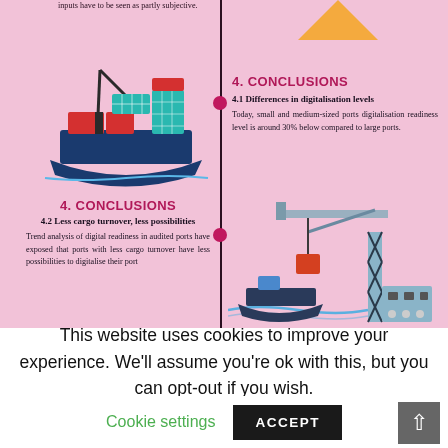[Figure (infographic): Pink infographic with two-column timeline layout showing port digitalisation conclusions. Left top: partial text about subjective inputs. Right middle: '4. CONCLUSIONS' section 4.1 about differences in digitalisation levels — small and medium-sized ports digitalisation readiness level is around 30% below compared to large ports. Left bottom: '4. CONCLUSIONS' section 4.2 about less cargo turnover, less possibilities — trend analysis of digital readiness in audited ports. Illustrations include a cargo ship (left) and port crane with boat (right). A vertical dark timeline line with pink dots separates the two columns.]
inputs have to be seen as partly subjective.
4. CONCLUSIONS
4.1 Differences in digitalisation levels
Today, small and medium-sized ports digitalisation readiness level is around 30% below compared to large ports.
4. CONCLUSIONS
4.2 Less cargo turnover, less possibilities
Trend analysis of digital readiness in audited ports have exposed that ports with less cargo turnover have less possibilities to digitalise their port
This website uses cookies to improve your experience. We'll assume you're ok with this, but you can opt-out if you wish.
Cookie settings
ACCEPT